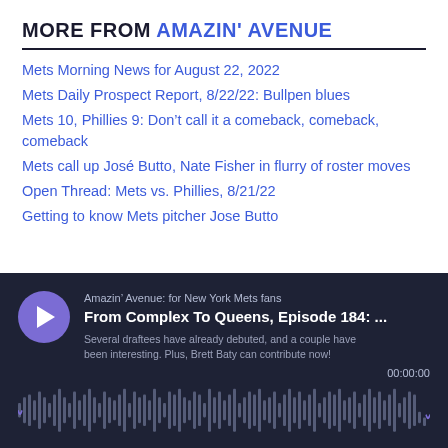MORE FROM AMAZIN' AVENUE
Mets Morning News for August 22, 2022
Mets Daily Prospect Report, 8/22/22: Bullpen blues
Mets 10, Phillies 9: Don't call it a comeback, comeback, comeback
Mets call up José Butto, Nate Fisher in flurry of roster moves
Open Thread: Mets vs. Phillies, 8/21/22
Getting to know Mets pitcher Jose Butto
[Figure (other): Podcast player widget with dark background showing 'Amazin' Avenue: for New York Mets fans' - 'From Complex To Queens, Episode 184: ...' with description 'Several draftees have already debuted, and a couple have been interesting. Plus, Brett Baty can contribute now!' and timestamp 00:00:00 with audio waveform visualization]